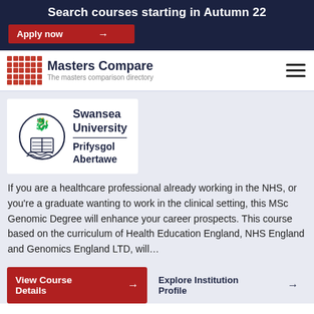Search courses starting in Autumn 22
Apply now →
[Figure (logo): Masters Compare – The masters comparison directory logo with red grid icon]
[Figure (logo): Swansea University / Prifysgol Abertawe logo with crest]
If you are a healthcare professional already working in the NHS, or you're a graduate wanting to work in the clinical setting, this MSc Genomic Degree will enhance your career prospects. This course based on the curriculum of Health Education England, NHS England and Genomics England LTD, will…
View Course Details →
Explore Institution Profile →